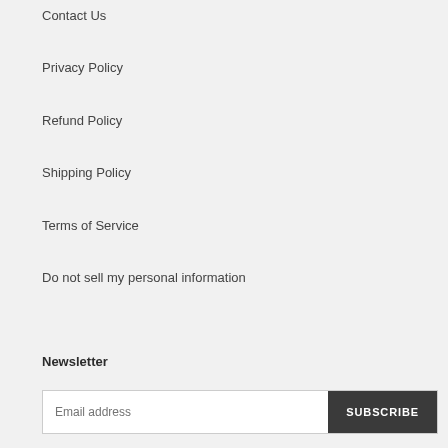Contact Us
Privacy Policy
Refund Policy
Shipping Policy
Terms of Service
Do not sell my personal information
Newsletter
Email address | SUBSCRIBE